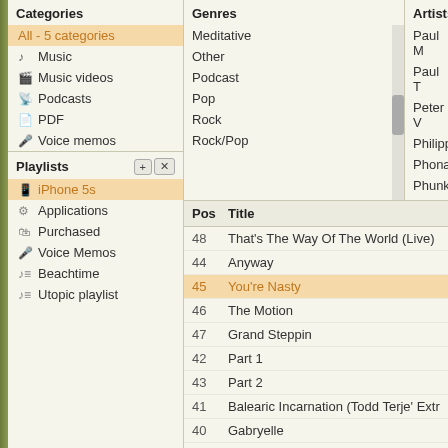Categories
All - 5 categories
Music
Music videos
Podcasts
PDF
Voice memos
Genres
Meditative
Other
Podcast
Pop
Rock
Rock/Pop
Artists
Paul M
Paul T
Peter V
Philipp
Phona
Phunk
Playlists
iPhone 5s
Applications
Purchased
Voice Memos
Beachtime
Utopic playlist
| Pos | Title |
| --- | --- |
| 48 | That's The Way Of The World (Live) |
| 44 | Anyway |
| 45 | You're Nasty |
| 46 | The Motion |
| 47 | Grand Steppin |
| 42 | Part 1 |
| 43 | Part 2 |
| 41 | Balearic Incarnation (Todd Terje' Extra D |
| 40 | Gabryelle |
| 39 | Hypnosis track |
| 38 | Teardrops |